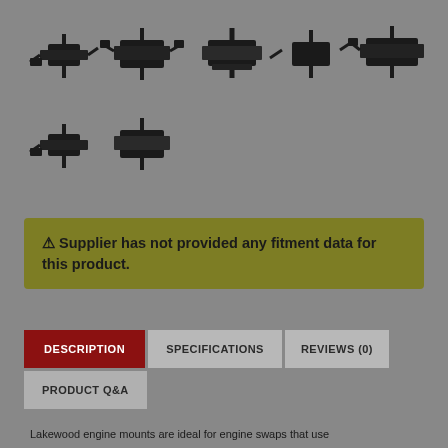[Figure (photo): Grid of 7 black engine mount hardware pieces shown from multiple angles against gray background. Two rows: 5 pieces on top row, 2 pieces on bottom row.]
⚠ Supplier has not provided any fitment data for this product.
DESCRIPTION | SPECIFICATIONS | REVIEWS (0) | PRODUCT Q&A
Lakewood engine mounts are ideal for engine swaps that use